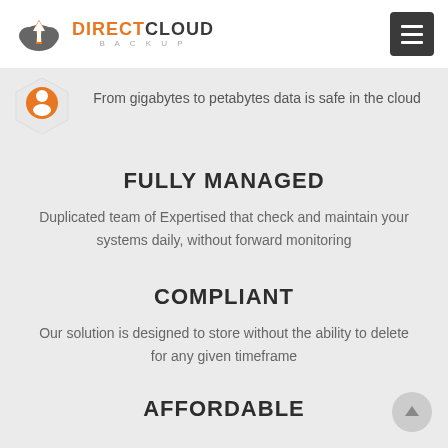DirectCloud Backup
From gigabytes to petabytes data is safe in the cloud
FULLY MANAGED
Duplicated team of Expertised that check and maintain your systems daily, without forward monitoring
COMPLIANT
Our solution is designed to store without the ability to delete for any given timeframe
AFFORDABLE